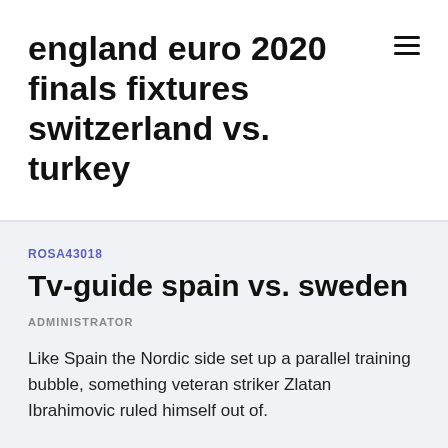england euro 2020 finals fixtures switzerland vs. turkey
ROSA43018
Tv-guide spain vs. sweden
ADMINISTRATOR
Like Spain the Nordic side set up a parallel training bubble, something veteran striker Zlatan Ibrahimovic ruled himself out of.